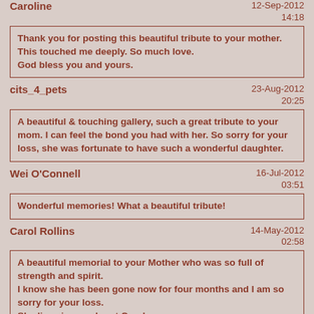Caroline — 12-Sep-2012 14:18
Thank you for posting this beautiful tribute to your mother.
This touched me deeply. So much love.
God bless you and yours.
cits_4_pets — 23-Aug-2012 20:25
A beautiful & touching gallery, such a great tribute to your mom. I can feel the bond you had with her. So sorry for your loss, she was fortunate to have such a wonderful daughter.
Wei O'Connell — 16-Jul-2012 03:51
Wonderful memories! What a beautiful tribute!
Carol Rollins — 14-May-2012 02:58
A beautiful memorial to your Mother who was so full of strength and spirit.
I know she has been gone now for four months and I am so sorry for your loss.
She lives in your heart Carol.
Alain Boussac — 22-Mar-2012 15:40